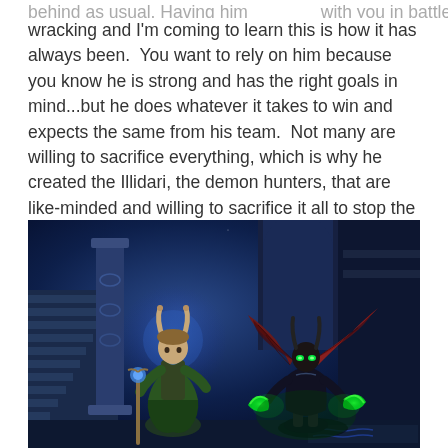behind as usual. Having him with you in battle is nerve-wracking and I'm coming to learn this is how it has always been.  You want to rely on him because you know he is strong and has the right goals in mind...but he does whatever it takes to win and expects the same from his team.  Not many are willing to sacrifice everything, which is why he created the Illidari, the demon hunters, that are like-minded and willing to sacrifice it all to stop the Legion. Honestly, I never know if he will be there when we need him.
[Figure (screenshot): World of Warcraft video game screenshot showing two characters in a magical blue-lit environment: a robed figure with horns holding a staff on the left, and a dark winged demon hunter with glowing green weapons on the right, set against a starry night sky with ornate temple architecture.]